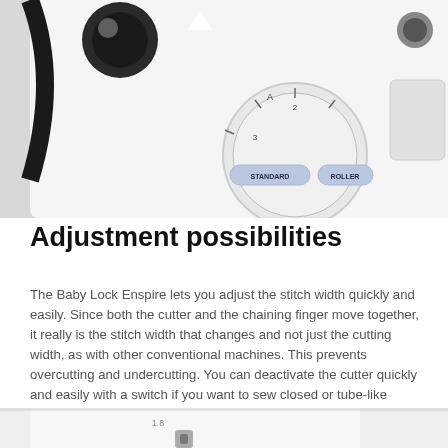[Figure (photo): Close-up photo of a sewing machine (Baby Lock Enspire) showing the stitch width adjustment dial with labels 'STANDARD' and 'ROLLER', along with other control knobs on a white machine body.]
Adjustment possibilities
The Baby Lock Enspire lets you adjust the stitch width quickly and easily. Since both the cutter and the chaining finger move together, it really is the stitch width that changes and not just the cutting width, as with other conventional machines. This prevents overcutting and undercutting. You can deactivate the cutter quickly and easily with a switch if you want to sew closed or tube-like pieces of clothing. The same switch reactivates the cutter whenever you need it. The cutter is not fully retracted and you can use it as a guide. One dial lets you modify the stitch length and change over the Enspire to the rolled hem option. Simply read the setting value on the dial's scale.
[Figure (photo): Partial close-up of the Baby Lock Enspire sewing machine showing a white panel with the number '1.8' visible on the dial scale.]